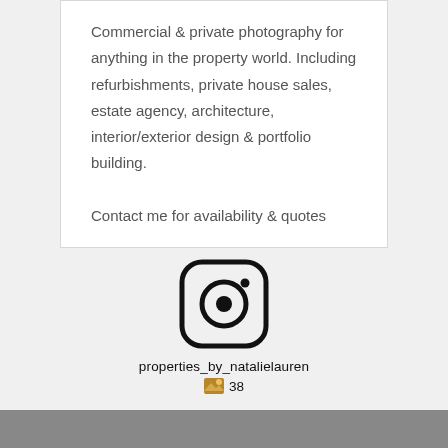Commercial & private photography for anything in the property world. Including refurbishments, private house sales, estate agency, architecture, interior/exterior design & portfolio building.

Contact me for availability & quotes
[Figure (logo): Instagram logo icon - circular rounded square with camera outline]
properties_by_natalielauren
38